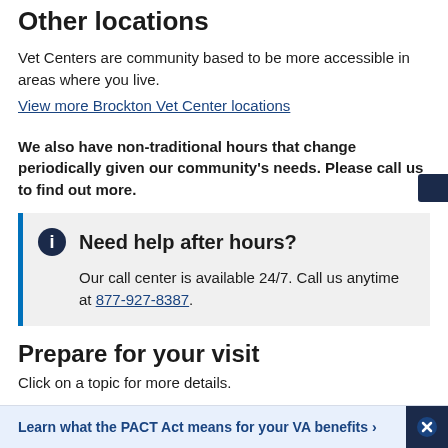Other locations
Vet Centers are community based to be more accessible in areas where you live.
View more Brockton Vet Center locations
We also have non-traditional hours that change periodically given our community's needs. Please call us to find out more.
Need help after hours? Our call center is available 24/7. Call us anytime at 877-927-8387.
Prepare for your visit
Click on a topic for more details.
Learn what the PACT Act means for your VA benefits >